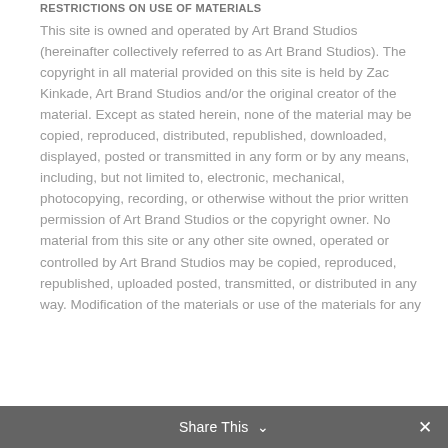RESTRICTIONS ON USE OF MATERIALS
This site is owned and operated by Art Brand Studios (hereinafter collectively referred to as Art Brand Studios). The copyright in all material provided on this site is held by Zac Kinkade, Art Brand Studios and/or the original creator of the material. Except as stated herein, none of the material may be copied, reproduced, distributed, republished, downloaded, displayed, posted or transmitted in any form or by any means, including, but not limited to, electronic, mechanical, photocopying, recording, or otherwise without the prior written permission of Art Brand Studios or the copyright owner. No material from this site or any other site owned, operated or controlled by Art Brand Studios may be copied, reproduced, republished, uploaded posted, transmitted, or distributed in any way. Modification of the materials or use of the materials for any
Share This ∨  ✕